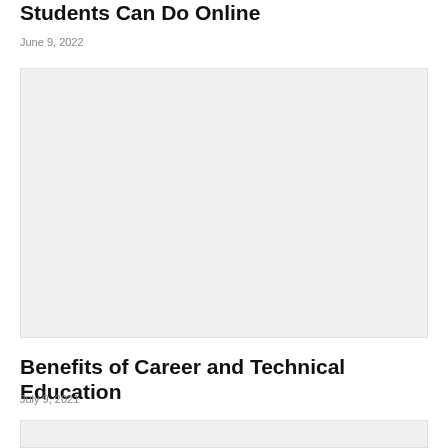Students Can Do Online
June 9, 2022
[Figure (photo): Large light gray placeholder image]
Benefits of Career and Technical Education
July 9, 2021
[Figure (photo): Partial light gray placeholder image at bottom]